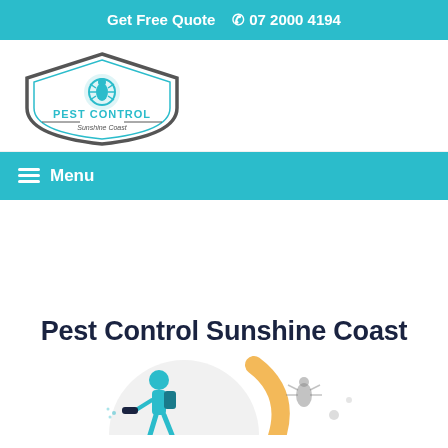Get Free Quote  📞 07 2000 4194
[Figure (logo): Pest Control Sunshine Coast logo — shield shape with pest control bug icon, text PEST CONTROL Sunshine Coast]
☰ Menu
Pest Control Sunshine Coast
[Figure (illustration): Circular illustration showing a pest control technician with spraying equipment and pest icons (mosquito, insects)]